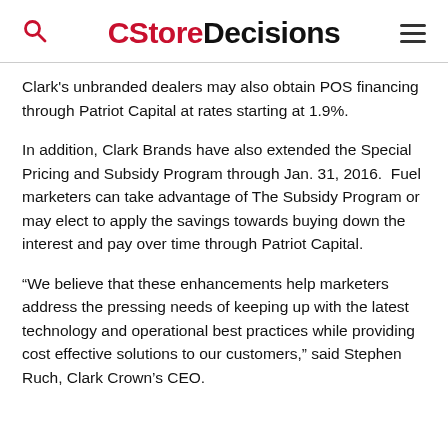CStoreDecisions
Clark's unbranded dealers may also obtain POS financing through Patriot Capital at rates starting at 1.9%.
In addition, Clark Brands have also extended the Special Pricing and Subsidy Program through Jan. 31, 2016.  Fuel marketers can take advantage of The Subsidy Program or may elect to apply the savings towards buying down the interest and pay over time through Patriot Capital.
“We believe that these enhancements help marketers address the pressing needs of keeping up with the latest technology and operational best practices while providing cost effective solutions to our customers,” said Stephen Ruch, Clark Crown’s CEO.